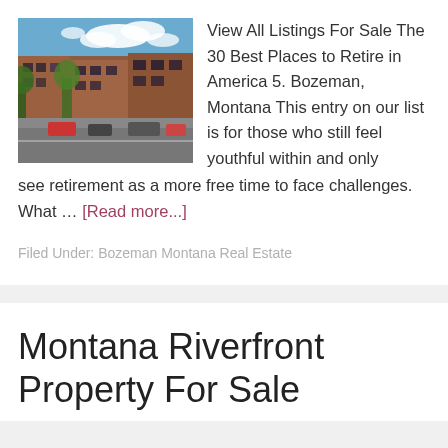[Figure (photo): Street view of downtown Bozeman, Montana showing historic brick buildings along a main street with cars parked and blue sky with clouds]
View All Listings For Sale The 30 Best Places to Retire in America 5. Bozeman, Montana This entry on our list is for those who still feel youthful within and only see retirement as a more free time to face challenges. What … [Read more...]
Filed Under: Bozeman Montana Real Estate
Montana Riverfront Property For Sale